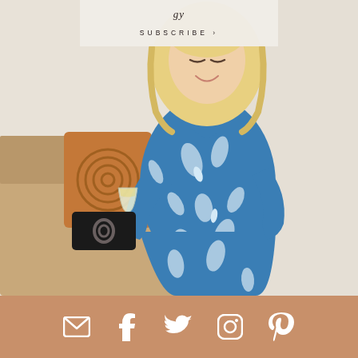SUBSCRIBE ›
[Figure (photo): Blonde woman in a blue floral wrap dress sitting on a tan leather couch, holding a champagne flute and looking down at her phone, with a black clutch bag and decorative pillows beside her.]
[Figure (infographic): Tan/brown horizontal footer bar with five white social media icons: email/envelope, Facebook, Twitter, Instagram, Pinterest]